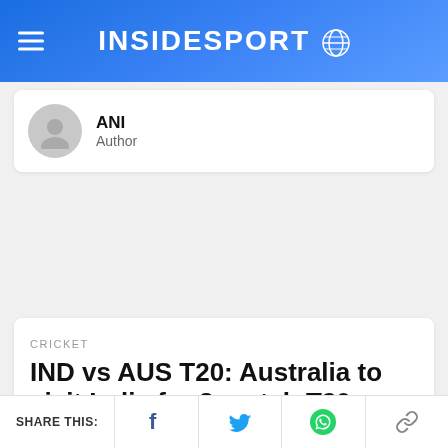INSIDESPORT
ANI
Author
CRICKET
IND vs AUS T20: Australia to visit India for 3-match T20 series in September ahead of T20 World Cup
SHARE THIS: